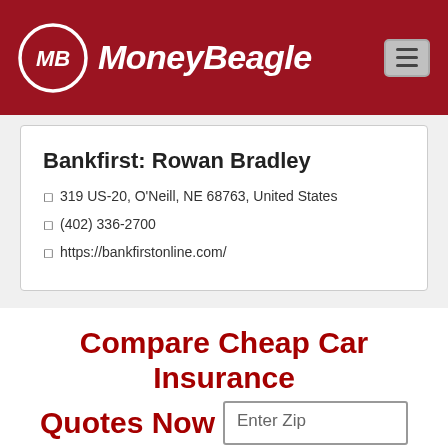[Figure (logo): MoneyBeagle logo with MB emblem circle and italic text on dark red header background]
Bankfirst: Rowan Bradley
319 US-20, O'Neill, NE 68763, United States
(402) 336-2700
https://bankfirstonline.com/
Compare Cheap Car Insurance Quotes Now
Enter Zip
Get Rates >